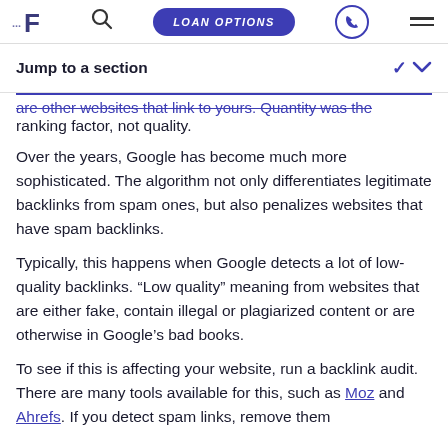LOAN OPTIONS
Jump to a section
are other websites that link to yours. Quantity was the ranking factor, not quality.
Over the years, Google has become much more sophisticated. The algorithm not only differentiates legitimate backlinks from spam ones, but also penalizes websites that have spam backlinks.
Typically, this happens when Google detects a lot of low-quality backlinks. “Low quality” meaning from websites that are either fake, contain illegal or plagiarized content or are otherwise in Google’s bad books.
To see if this is affecting your website, run a backlink audit. There are many tools available for this, such as Moz and Ahrefs. If you detect spam links, remove them